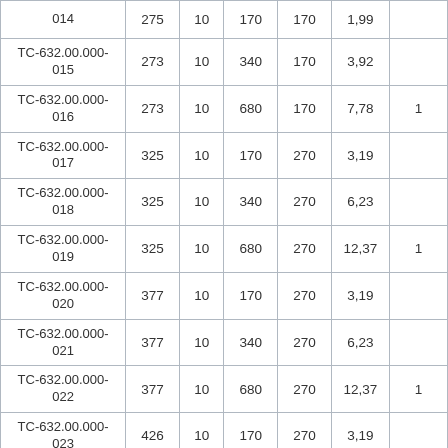| 014 | 275 | 10 | 170 | 170 | 1,99 |  |
| TC-632.00.000-015 | 273 | 10 | 340 | 170 | 3,92 |  |
| TC-632.00.000-016 | 273 | 10 | 680 | 170 | 7,78 | 1 |
| TC-632.00.000-017 | 325 | 10 | 170 | 270 | 3,19 |  |
| TC-632.00.000-018 | 325 | 10 | 340 | 270 | 6,23 |  |
| TC-632.00.000-019 | 325 | 10 | 680 | 270 | 12,37 | 1 |
| TC-632.00.000-020 | 377 | 10 | 170 | 270 | 3,19 |  |
| TC-632.00.000-021 | 377 | 10 | 340 | 270 | 6,23 |  |
| TC-632.00.000-022 | 377 | 10 | 680 | 270 | 12,37 | 1 |
| TC-632.00.000-023 | 426 | 10 | 170 | 270 | 3,19 |  |